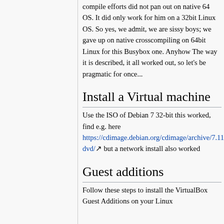compile efforts did not pan out on native 64 OS. It did only work for him on a 32bit Linux OS. So yes, we admit, we are sissy boys; we gave up on native crosscompiling on 64bit Linux for this Busybox one. Anyhow The way it is described, it all worked out, so let's be pragmatic for once...
Install a Virtual machine
Use the ISO of Debian 7 32-bit this worked, find e.g. here https://cdimage.debian.org/cdimage/archive/7.11.0/i386/iso-dvd/ but a network install also worked
Guest additions
Follow these steps to install the VirtualBox Guest Additions on your Linux